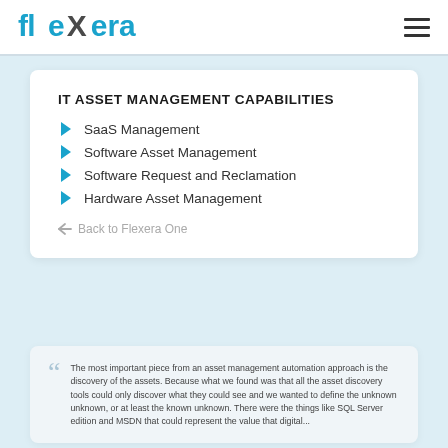Flexera
IT ASSET MANAGEMENT CAPABILITIES
SaaS Management
Software Asset Management
Software Request and Reclamation
Hardware Asset Management
Back to Flexera One
The most important piece from an asset management automation approach is the discovery of the assets. Because what we found was that all the asset discovery tools could only discover what they could see and we wanted to define the unknown unknown, or at least the known unknown. There were the things like SQL Server edition and MSDN that could represent the value that digital...